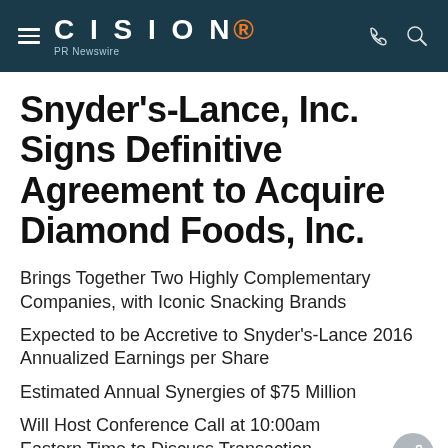CISION PR Newswire
Snyder's-Lance, Inc. Signs Definitive Agreement to Acquire Diamond Foods, Inc.
Brings Together Two Highly Complementary Companies, with Iconic Snacking Brands
Expected to be Accretive to Snyder's-Lance 2016 Annualized Earnings per Share
Estimated Annual Synergies of $75 Million
Will Host Conference Call at 10:00am Eastern Time to Discuss Transaction